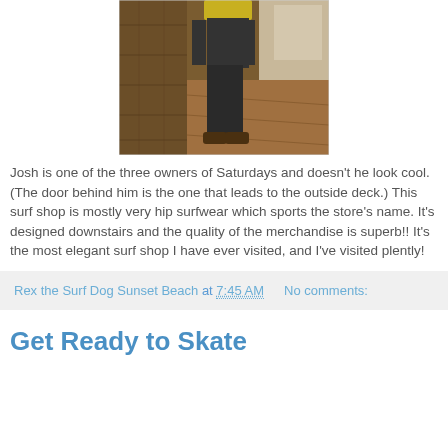[Figure (photo): Photo of Josh, one of the three owners of Saturdays surf shop, standing in the store near a wooden door that leads to the outside deck. Wood paneling visible in background.]
Josh is one of the three owners of Saturdays and doesn't he look cool. (The door behind him is the one that leads to the outside deck.) This surf shop is mostly very hip surfwear which sports the store's name. It's designed downstairs and the quality of the merchandise is superb!! It's the most elegant surf shop I have ever visited, and I've visited plently!
Rex the Surf Dog Sunset Beach at 7:45 AM   No comments:
Get Ready to Skate